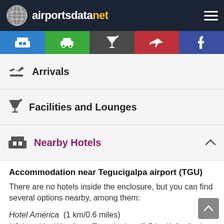airportsdatanet
Arrivals
Facilities and Lounges
Nearby Hotels
Accommodation near Tegucigalpa airport (TGU)
There are no hotels inside the enclosure, but you can find several options nearby, among them:
Hotel América  (1 km/0.6 miles)
LQ Hotel by Wyndham Tegucigalpa  (2.5 km/1.6 miles)
Dolphin Executive Hotels  (2.5 km/1.6 miles)